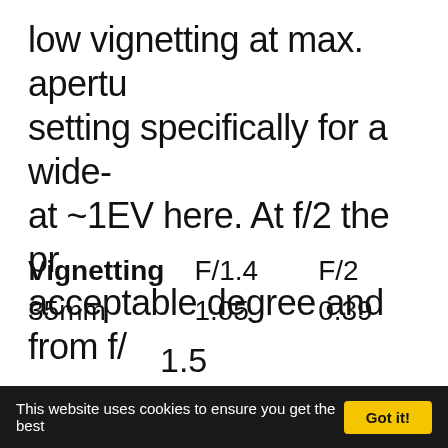low vignetting at max. aperture setting specifically for a wide- at ~1EV here. At f/2 the pr acceptable degree and from f/
| Vignetting | F/1.4 | F/2 |
| --- | --- | --- |
| 35mm | 1.05 | 0.39 |
This website uses cookies to ensure you get the best